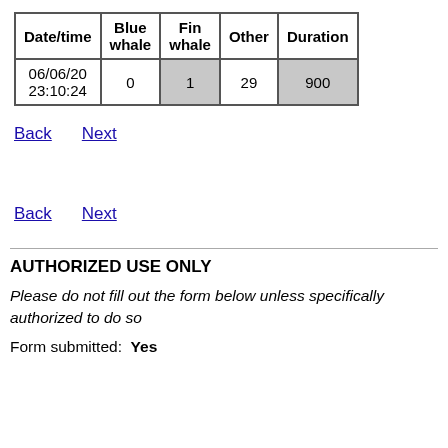| Date/time | Blue whale | Fin whale | Other | Duration |
| --- | --- | --- | --- | --- |
| 06/06/20 23:10:24 | 0 | 1 | 29 | 900 |
Back   Next
Back   Next
AUTHORIZED USE ONLY
Please do not fill out the form below unless specifically authorized to do so
Form submitted:  Yes